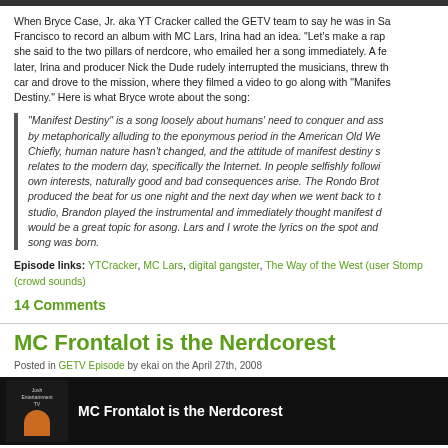When Bryce Case, Jr. aka YT Cracker called the GETV team to say he was in San Francisco to record an album with MC Lars, Irina had an idea. "Let's make a rap video," she said to the two pillars of nerdcore, who emailed her a song immediately. A few hours later, Irina and producer Nick the Dude rudely interrupted the musicians, threw them in a car and drove to the mission, where they filmed a video to go along with "Manifest Destiny." Here is what Bryce wrote about the song:
"Manifest Destiny" is a song loosely about humans' need to conquer and assert themselves by metaphorically alluding to the eponymous period in the American Old West ideology. Chiefly, human nature hasn't changed, and the attitude of manifest destiny still easily relates to the modern day, specifically the Internet. In people selfishly following their own interests, naturally good and bad consequences arise. The Rondo Brothers produced the beat for us one night and the next day when we went back to the studio, Brandon played the instrumental and immediately thought manifest destiny would be a great topic for asong. Lars and I wrote the lyrics on the spot and the song was born.
Episode links: YTCracker, MC Lars, digital gangster, The Way of the West (…), user Stomp (crowd sounds)
14 Comments
MC Frontalot is the Nerdcorest
Posted in GETV Episode by ekai on the April 27th, 2008
[Figure (screenshot): Dark video thumbnail showing 'MC Frontalot is the Nerdcorest' with a logo on the left]